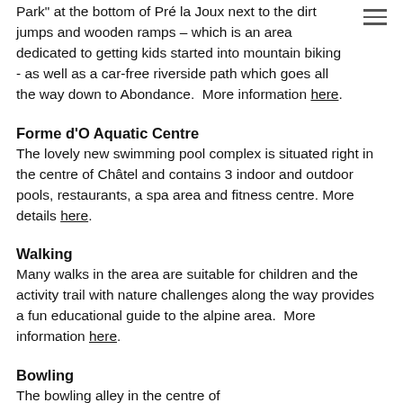Park" at the bottom of Pré la Joux next to the dirt jumps and wooden ramps – which is an area dedicated to getting kids started into mountain biking - as well as a car-free riverside path which goes all the way down to Abondance.  More information here.
Forme d'O Aquatic Centre
The lovely new swimming pool complex is situated right in the centre of Châtel and contains 3 indoor and outdoor pools, restaurants, a spa area and fitness centre. More details here.
Walking
Many walks in the area are suitable for children and the activity trail with nature challenges along the way provides a fun educational guide to the alpine area.  More information here.
Bowling
The bowling alley in the centre of